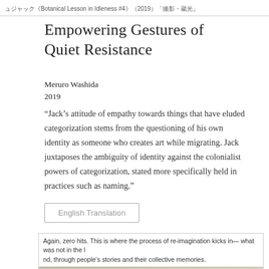ュジャック《Botanical Lesson in Idleness #4》（2019）「撮影・蔵光」
Empowering Gestures of Quiet Resistance
Meruro Washida
2019
“Jack’s attitude of empathy towards things that have eluded categorization stems from the questioning of his own identity as someone who creates art while migrating. Jack juxtaposes the ambiguity of identity against the colonialist powers of categorization, stated more specifically held in practices such as naming.”
English Translation
Again, zero hits. This is where the process of re-imagination kicks in— what was not in the l nd, through people’s stories and their collective memories.
[Figure (photo): Photograph showing papers and drawing tools on a surface, in warm sepia/brown tones]